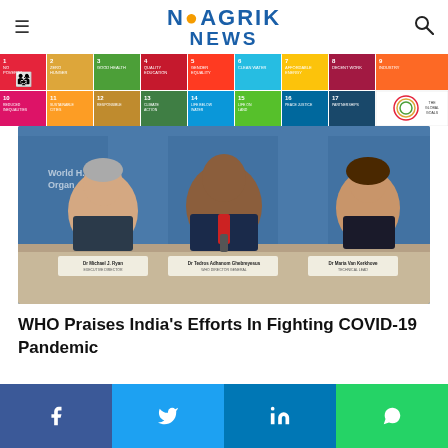NAAGRIK NEWS
[Figure (infographic): UN Sustainable Development Goals colorful icon banner showing SDGs 1-17]
[Figure (photo): WHO press conference with three officials seated at a table: Dr Michael J. Ryan (Executive Director), Dr Tedros Adhanom Ghebreyesus (WHO Director General), Dr Maria Van Kerkhove (Technical Lead), in front of WHO branded blue backdrop]
WHO Praises India's Efforts In Fighting COVID-19 Pandemic
[Figure (infographic): Social media share buttons: Facebook (dark blue), Twitter (light blue), LinkedIn (blue), WhatsApp (green)]